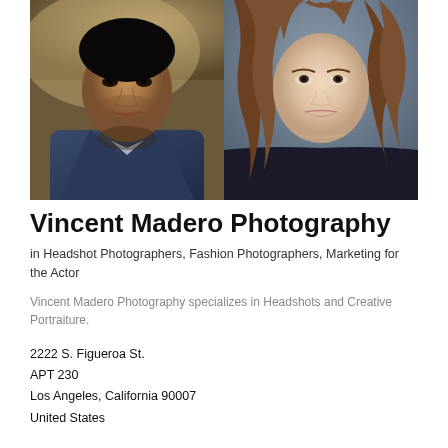[Figure (photo): Two headshot photos side by side: on the left, a young Black man in a denim jacket against a warm brown/tan background; on the right, a young white woman with long brown wavy hair wearing a dark top against a blue-gray background.]
Vincent Madero Photography
in Headshot Photographers, Fashion Photographers, Marketing for the Actor
Vincent Madero Photography specializes in Headshots and Creative Portraiture.
2222 S. Figueroa St.
APT 230
Los Angeles, California 90007
United States